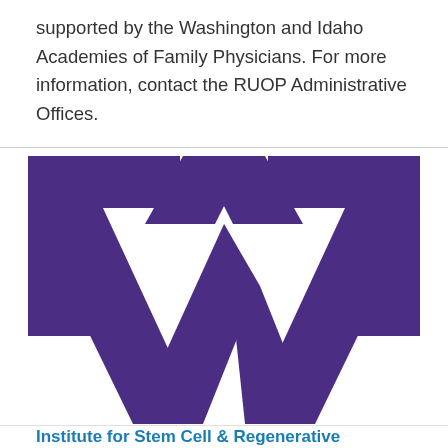supported by the Washington and Idaho Academies of Family Physicians. For more information, contact the RUOP Administrative Offices.
[Figure (logo): University of Washington block W logo in purple on white background]
Institute for Stem Cell & Regenerative